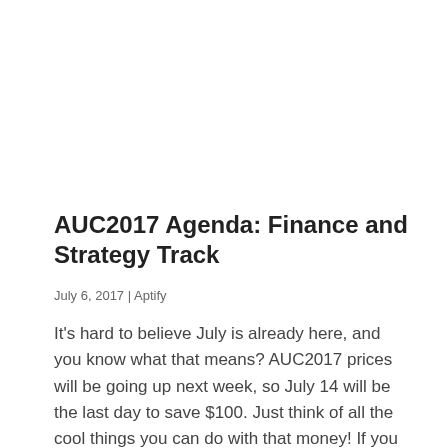AUC2017 Agenda: Finance and Strategy Track
July 6, 2017 | Aptify
It’s hard to believe July is already here, and you know what that means? AUC2017 prices will be going up next week, so July 14 will be the last day to save $100. Just think of all the cool things you can do with that money! If you and your team still haven’t bought…